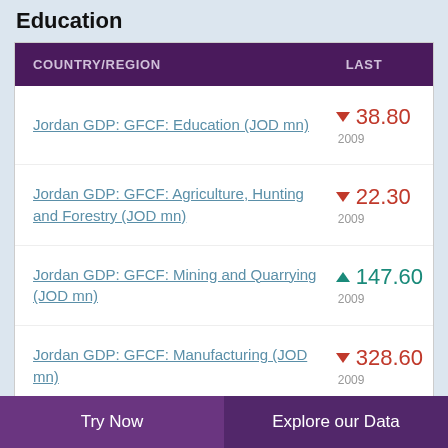Education
| COUNTRY/REGION | LAST |
| --- | --- |
| Jordan GDP: GFCF: Education (JOD mn) | ▼ 38.80
2009 |
| Jordan GDP: GFCF: Agriculture, Hunting and Forestry (JOD mn) | ▼ 22.30
2009 |
| Jordan GDP: GFCF: Mining and Quarrying (JOD mn) | ▲ 147.60
2009 |
| Jordan GDP: GFCF: Manufacturing (JOD mn) | ▼ 328.60
2009 |
Try Now    Explore our Data